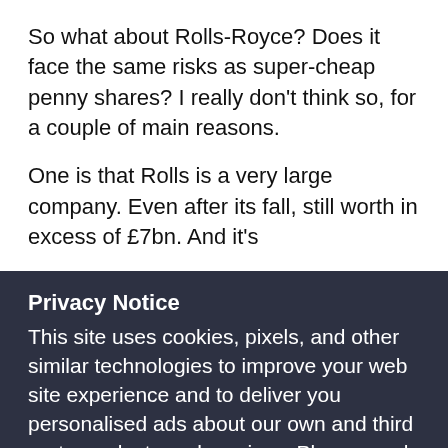So what about Rolls-Royce? Does it face the same risks as super-cheap penny shares? I really don't think so, for a couple of main reasons.
One is that Rolls is a very large company. Even after its fall, still worth in excess of £7bn. And it's
Privacy Notice
This site uses cookies, pixels, and other similar technologies to improve your web site experience and to deliver you personalised ads about our own and third party products and services. Please read more about how we collect and use data about you in this way in our Cookies Statement in our Privacy Policy. You can change your cookie settings in your browser at any time.